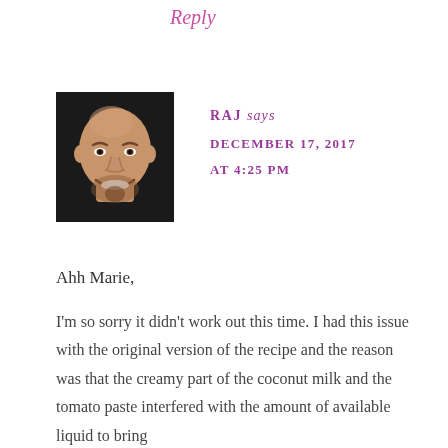Reply
[Figure (photo): Headshot photo of a bald man with a beard, smiling, wearing a black shirt]
RAJ says
DECEMBER 17, 2017
AT 4:25 PM
Ahh Marie,
I'm so sorry it didn't work out this time. I had this issue with the original version of the recipe and the reason was that the creamy part of the coconut milk and the tomato paste interfered with the amount of available liquid to bring